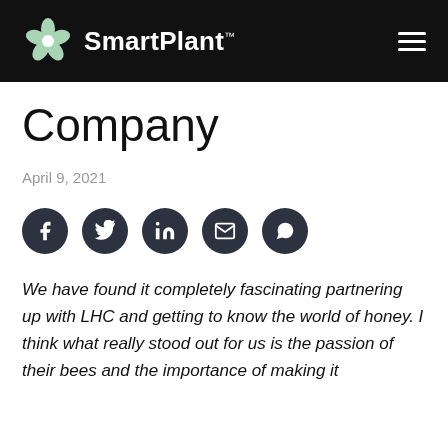SmartPlant™
Company
April 9, 2021
[Figure (infographic): Row of five dark circular social media share buttons: Facebook, Twitter, LinkedIn, Email, WhatsApp]
We have found it completely fascinating partnering up with LHC and getting to know the world of honey. I think what really stood out for us is the passion of their bees and the importance of making it